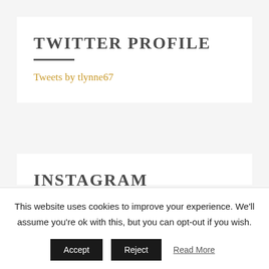TWITTER PROFILE
Tweets by tlynne67
INSTAGRAM
This website uses cookies to improve your experience. We'll assume you're ok with this, but you can opt-out if you wish.
Accept  Reject  Read More